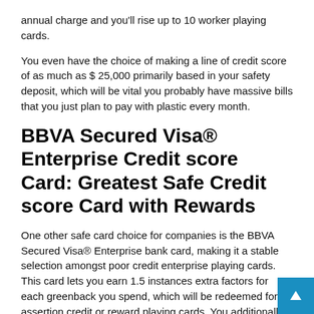annual charge and you'll rise up to 10 worker playing cards.
You even have the choice of making a line of credit score of as much as $ 25,000 primarily based in your safety deposit, which will be vital you probably have massive bills that you just plan to pay with plastic every month.
BBVA Secured Visa® Enterprise Credit score Card: Greatest Safe Credit score Card with Rewards
One other safe card choice for companies is the BBVA Secured Visa® Enterprise bank card, making it a stable selection amongst poor credit enterprise playing cards. This card lets you earn 1.5 instances extra factors for each greenback you spend, which will be redeemed for assertion credit or reward playing cards. You additionally do not pay an annual charge the primary 12 months ($ 40 per 12 months thereafter) and also you get free worker playing cards.